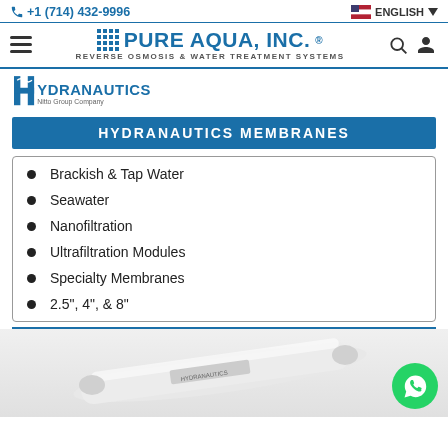+1 (714) 432-9996 | ENGLISH
[Figure (logo): Pure Aqua, Inc. logo with hamburger menu, brand name, tagline 'Reverse Osmosis & Water Treatment Systems', search and user icons]
[Figure (logo): Hydranautics Nitto Group Company logo]
HYDRANAUTICS MEMBRANES
Brackish & Tap Water
Seawater
Nanofiltration
Ultrafiltration Modules
Specialty Membranes
2.5", 4", & 8"
[Figure (photo): White cylindrical RO membrane element/module lying diagonally, with a green WhatsApp button in the bottom-right corner]